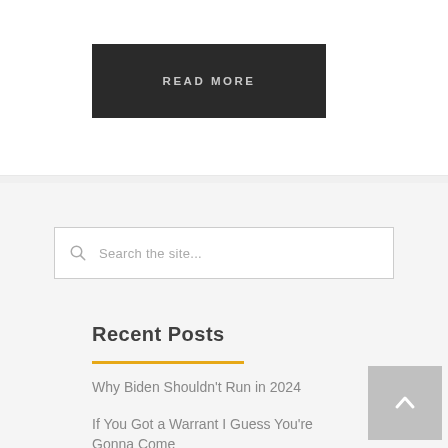READ MORE
Search the site...
Recent Posts
Why Biden Shouldn't Run in 2024
If You Got a Warrant I Guess You're Gonna Come